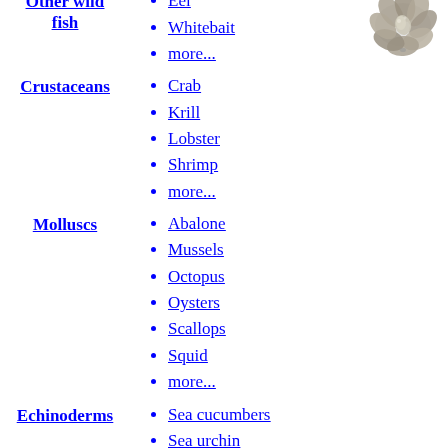Trout
Other wild fish
Eel
Whitebait
more...
[Figure (photo): Decorative image of oysters or shellfish cluster]
Crustaceans
Crab
Krill
Lobster
Shrimp
more...
Molluscs
Abalone
Mussels
Octopus
Oysters
Scallops
Squid
more...
Echinoderms
Sea cucumbers
Sea urchin
more...
Carp